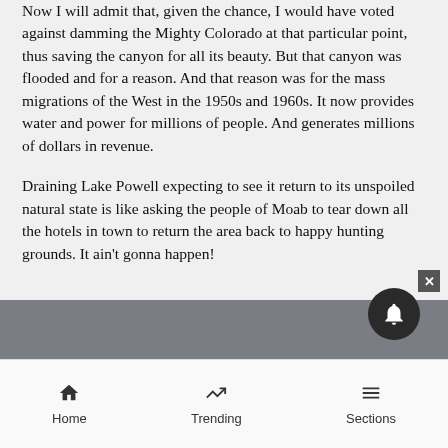Now I will admit that, given the chance, I would have voted against damming the Mighty Colorado at that particular point, thus saving the canyon for all its beauty. But that canyon was flooded and for a reason. And that reason was for the mass migrations of the West in the 1950s and 1960s. It now provides water and power for millions of people. And generates millions of dollars in revenue.
Draining Lake Powell expecting to see it return to its unspoiled natural state is like asking the people of Moab to tear down all the hotels in town to return the area back to happy hunting grounds. It ain't gonna happen!
Home   Trending   Sections